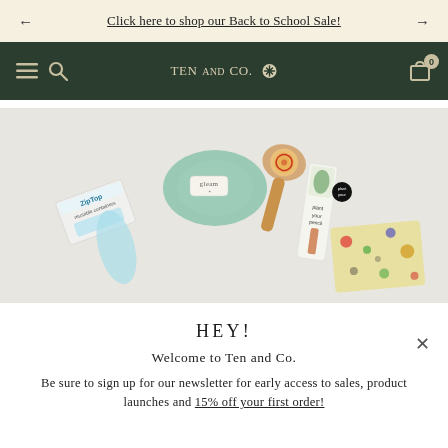Click here to shop our Back to School Sale!
[Figure (logo): TENandCO. logo with decorative cross/asterisk icon, white text on dark green navigation bar with hamburger menu, search icon, and shopping cart badge showing 0]
[Figure (photo): Flat lay product photo on light background showing ZipTop containers, a round green ceramic dish with soap bar labeled 'gleam', a wooden dish brush, a plant-based pencil product package, and a beeswax wrap with colorful pattern]
HEY!
Welcome to Ten and Co.
Be sure to sign up for our newsletter for early access to sales, product launches and 15% off your first order!